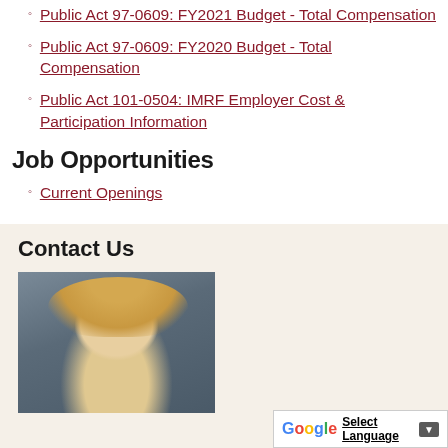Public Act 97-0609: FY2021 Budget - Total Compensation
Public Act 97-0609: FY2020 Budget - Total Compensation
Public Act 101-0504: IMRF Employer Cost & Participation Information
Job Opportunities
Current Openings
Contact Us
[Figure (photo): Portrait photo of a woman with blonde hair against a gray background]